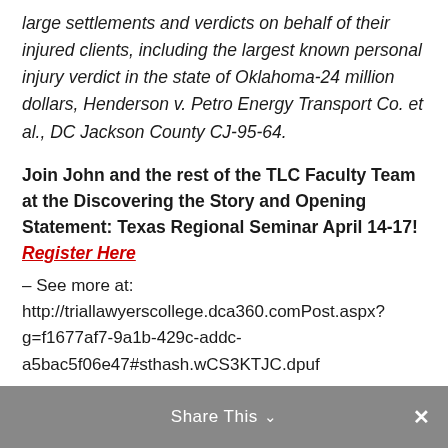large settlements and verdicts on behalf of their injured clients, including the largest known personal injury verdict in the state of Oklahoma-24 million dollars, Henderson v. Petro Energy Transport Co. et al., DC Jackson County CJ-95-64.
Join John and the rest of the TLC Faculty Team at the Discovering the Story and Opening Statement: Texas Regional Seminar April 14-17! Register Here
– See more at: http://triallawyerscollege.dca360.comPost.aspx?g=f1677af7-9a1b-429c-addc-a5bac5f06e47#sthash.wCS3KTJC.dpuf
Share This ∨  ×